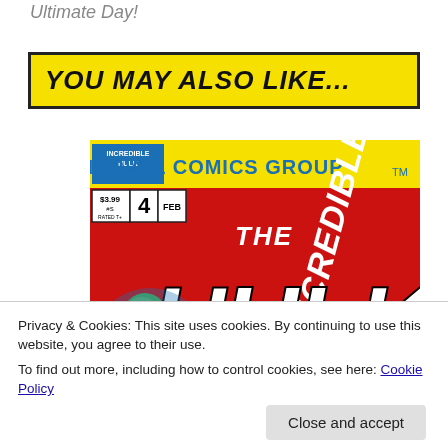Ultimate Day!
YOU MAY ALSO LIKE...
[Figure (illustration): Comic book cover: The Incredible Hulk #4, Marvel Comics Group, featuring the Hulk and Wolverine on a red background. Price $3.99, rated T+, Feb.]
Privacy & Cookies: This site uses cookies. By continuing to use this website, you agree to their use.
To find out more, including how to control cookies, see here: Cookie Policy
Close and accept